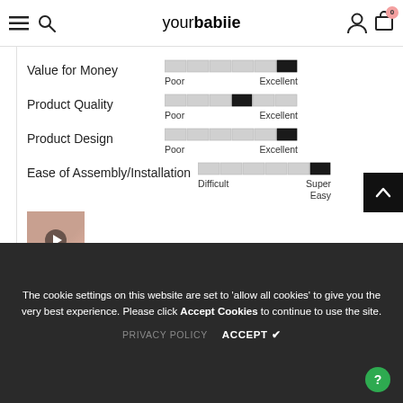yourbabiie
Value for Money
[Figure (other): Rating bar for Value for Money — nearly full bar (approx 5/5), Poor to Excellent scale]
Product Quality
[Figure (other): Rating bar for Product Quality — approx 4/5, Poor to Excellent scale]
Product Design
[Figure (other): Rating bar for Product Design — nearly full (approx 5/5), Poor to Excellent scale]
Ease of Assembly/Installation
[Figure (other): Rating bar for Ease of Assembly/Installation — nearly full, Difficult to Super Easy scale]
[Figure (photo): Video thumbnail of a baby/person, showing a play button overlay]
The cookie settings on this website are set to 'allow all cookies' to give you the very best experience. Please click Accept Cookies to continue to use the site.
PRIVACY POLICY   ACCEPT ✔